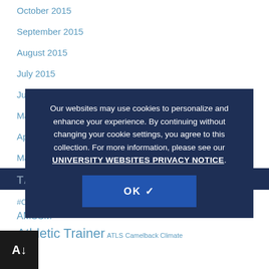October 2015
September 2015
August 2015
July 2015
June 2015
May 2015
April 2015
March 2015
TAG CLOUD
#CoolFirstTransportSecond ACSM AED American College of ... Inc. AMSSM Athletic Trainer ATLS Camelback Climate CSSS
Our websites may use cookies to personalize and enhance your experience. By continuing without changing your cookie settings, you agree to this collection. For more information, please see our UNIVERSITY WEBSITES PRIVACY NOTICE.
OK